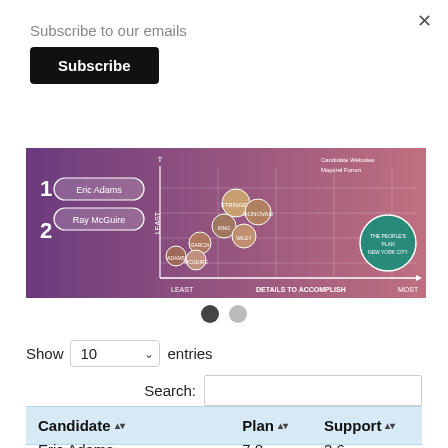×
Subscribe to our emails
Subscribe
[Figure (scatter-plot): NYC Mayoral candidates scatter plot with axes 'DETAILS TO ACCOMPLISH' (x) and implied ambition/vision (y), showing candidate photos and labels including Eric Adams, Ray McGuire, Stringer, Donovan, King, Wiley, Garcia, Adams, and others. Candidate Websites and Mayoral Forum links shown. The People's Plan NYC seal visible.]
● ●
Show 10 entries
Search:
| Candidate | Plan | Support |
| --- | --- | --- |
| Eric Adams | 7.8 | 3.6 |